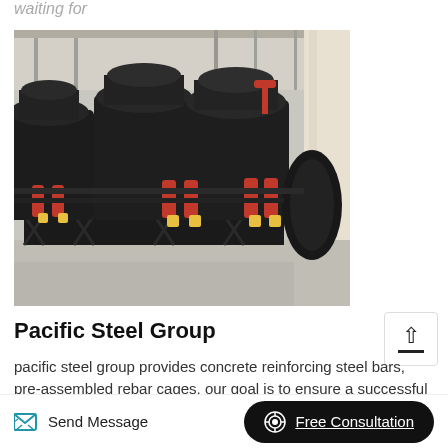waiting for
[Figure (photo): Industrial heavy machinery — multiple large cone crushers in black with red hydraulic cylinders, arranged in a row inside a factory/warehouse setting with steel structure visible in background.]
Pacific Steel Group
pacific steel group provides concrete reinforcing steel bars, pre-assembled rebar cages, our goal is to ensure a successful - and efficient - project..steel re-rolling mill basic
Send Message    Free Consultation